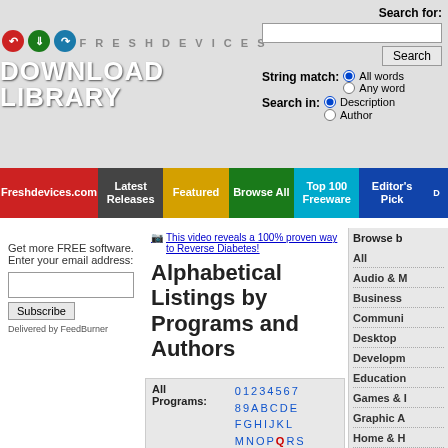[Figure (logo): FreshDevices Download Library logo with colored arrow icons]
Search for:
String match: All words Any word
Search in: Description Author
Freshdevices.com | Latest Releases | Featured | Browse All | Top 100 Freeware | Editor's Pick | D
Get more FREE software. Enter your email address:
Delivered by FeedBurner
This video reveals a 100% proven way to Reverse Diabetes!
Alphabetical Listings by Programs and Authors
| All Programs: |
| --- |
| 0 1 2 3 4 5 6 7 8 9 A B C D E F G H I J K L M N O P Q R S T U V W X Y Z |
Browse b All Audio & M Business Communi Desktop Developm Education Games & I Graphic A Home & H